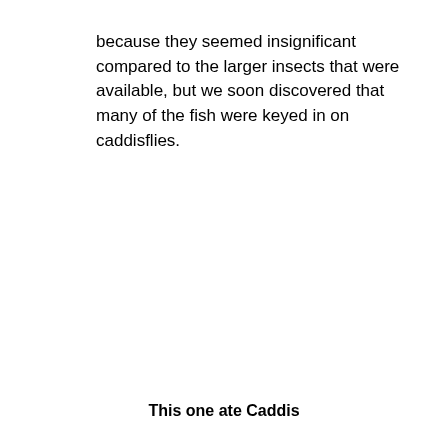because they seemed insignificant compared to the larger insects that were available, but we soon discovered that many of the fish were keyed in on caddisflies.
This one ate Caddis